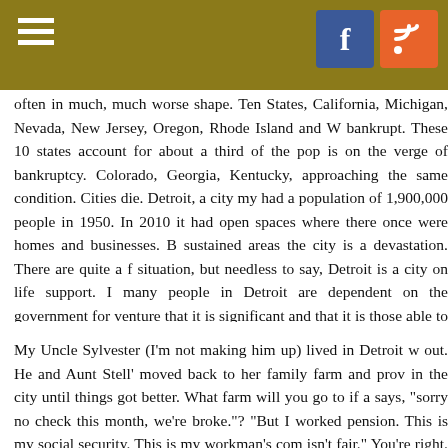Navigation header with hamburger menu and social icons (Facebook, RSS)
often in much, much worse shape. Ten States, California, Michigan, Nevada, New Jersey, Oregon, Rhode Island and W bankrupt. These 10 states account for about a third of the pop is on the verge of bankruptcy. Colorado, Georgia, Kentucky, approaching the same condition. Cities die. Detroit, a city my had a population of 1,900,000 people in 1950. In 2010 it had open spaces where there once were homes and businesses. B sustained areas the city is a devastation. There are quite a f situation, but needless to say, Detroit is a city on life support. I many people in Detroit are dependent on the government for venture that it is significant and that it is those able to pay question is, how will they or dwellers in any city live if there is n
My Uncle Sylvester (I'm not making him up) lived in Detroit w out. He and Aunt Stell' moved back to her family farm and prov in the city until things got better. What farm will you go to if a says, "sorry no check this month, we're broke."? "But I worked pension. This is my social security. This is my workman's com isn't fair." You're right. It's not fair. But in the annoying popular spent the money we owed you, and now we are out of money